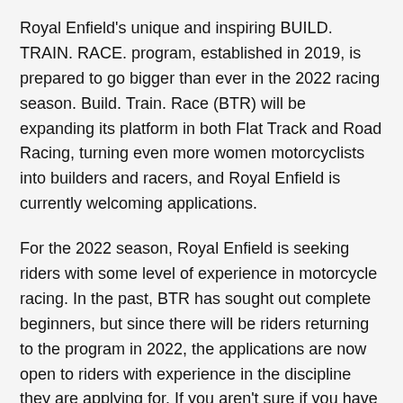Royal Enfield's unique and inspiring BUILD. TRAIN. RACE. program, established in 2019, is prepared to go bigger than ever in the 2022 racing season. Build. Train. Race (BTR) will be expanding its platform in both Flat Track and Road Racing, turning even more women motorcyclists into builders and racers, and Royal Enfield is currently welcoming applications.
For the 2022 season, Royal Enfield is seeking riders with some level of experience in motorcycle racing. In the past, BTR has sought out complete beginners, but since there will be riders returning to the program in 2022, the applications are now open to riders with experience in the discipline they are applying for. If you aren't sure if you have the appropriate